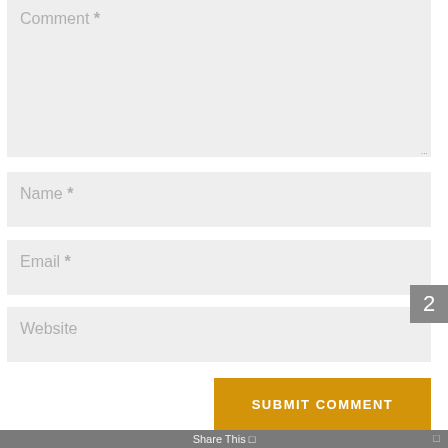[Figure (screenshot): Web comment form with fields for Comment, Name, Email, Website, a Submit Comment button, and a Share This footer bar with page number 2 tab on the right side.]
Comment *
Name *
Email *
Website
SUBMIT COMMENT
Share This